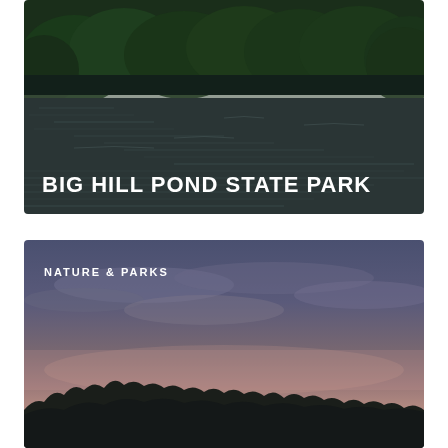[Figure (photo): Aerial view of Big Hill Pond with dark water ripples and dense green trees along the bank, with bold white text overlay reading BIG HILL POND STATE PARK]
[Figure (photo): Twilight/sunset landscape photo showing silhouetted treeline against a dramatic sky with purple, pink, and blue hues. Overlaid text NATURE & PARKS and a heart icon in white.]